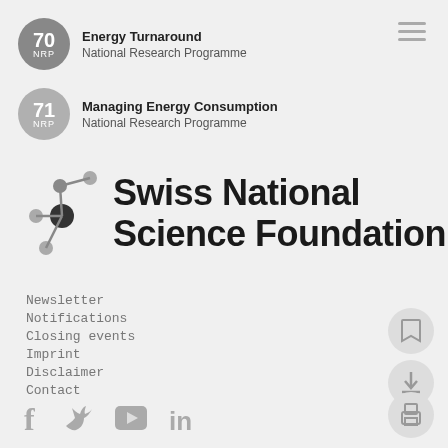[Figure (logo): NRP 70 Energy Turnaround badge and text]
[Figure (logo): NRP 71 Managing Energy Consumption badge and text]
[Figure (logo): Swiss National Science Foundation logo with network icon]
Newsletter
Notifications
Closing events
Imprint
Disclaimer
Contact
[Figure (infographic): Social media icons: Facebook, Twitter, YouTube, LinkedIn]
[Figure (infographic): Bookmark icon button]
[Figure (infographic): Download icon button]
[Figure (infographic): Print icon button]